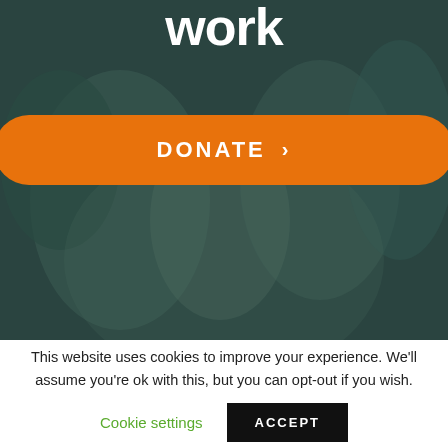[Figure (photo): Dark teal-toned background photo of people, partially visible, overlaid with dark color wash. Contains large white bold text '...upport our work' and an orange DONATE button.]
work
DONATE ›
This website uses cookies to improve your experience. We'll assume you're ok with this, but you can opt-out if you wish.
Cookie settings
ACCEPT